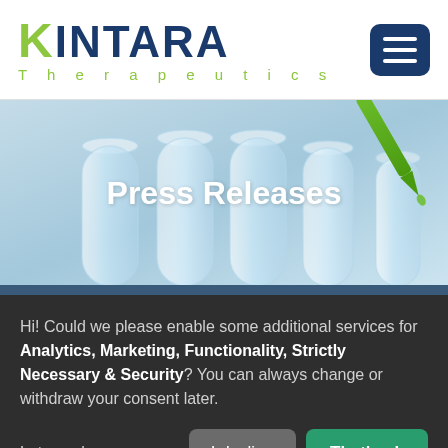[Figure (logo): Kintara Therapeutics logo with green K and blue INTARA lettering, green Therapeutics text below]
[Figure (photo): Laboratory test tubes with a green pipette dropping liquid, light blue background — hero banner for Press Releases section]
Press Releases
Hi! Could we please enable some additional services for Analytics, Marketing, Functionality, Strictly Necessary & Security? You can always change or withdraw your consent later.
Let me choose...
I decline
That's ok